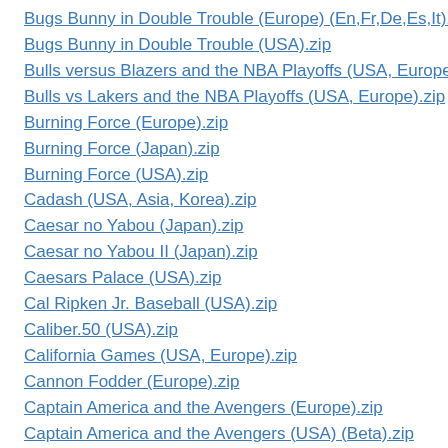Bugs Bunny in Double Trouble (Europe) (En,Fr,De,Es,It).zip
Bugs Bunny in Double Trouble (USA).zip
Bulls versus Blazers and the NBA Playoffs (USA, Europe).zip
Bulls vs Lakers and the NBA Playoffs (USA, Europe).zip
Burning Force (Europe).zip
Burning Force (Japan).zip
Burning Force (USA).zip
Cadash (USA, Asia, Korea).zip
Caesar no Yabou (Japan).zip
Caesar no Yabou II (Japan).zip
Caesars Palace (USA).zip
Cal Ripken Jr. Baseball (USA).zip
Caliber.50 (USA).zip
California Games (USA, Europe).zip
Cannon Fodder (Europe).zip
Captain America and the Avengers (Europe).zip
Captain America and the Avengers (USA) (Beta).zip
Captain America and the Avengers (USA).zip
Captain Lang (Japan) (En,Ja).zip